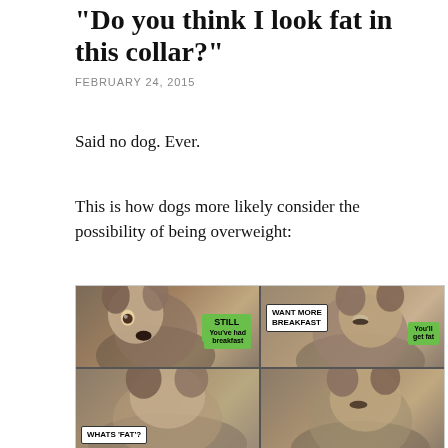"Do you think I look fat in this collar?"
FEBRUARY 24, 2015
Said no dog. Ever.
This is how dogs more likely consider the possibility of being overweight:
[Figure (photo): A four-panel meme showing two Husky dogs in a car. Top-left panel: husky looking alert with speech bubble 'STILL HUNGRY' and another bubble 'You've had breakfast'. Top-right panel: husky looking drowsy with speech bubble 'WANT MORE BREAKFAST' and 'You'll get fat'. Bottom-left panel: husky looking down with speech bubble 'WHATS FAT?'. Bottom-right panel: husky with sleepy expression.]